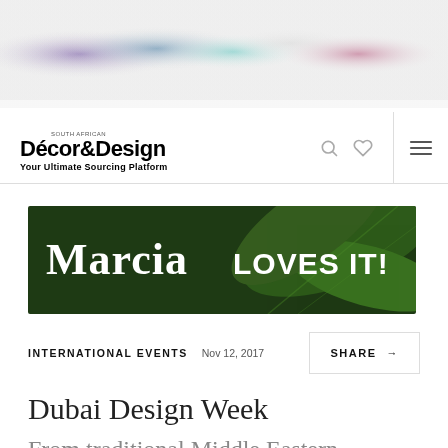[Figure (photo): Abstract blurred banner image with purple, teal, and pink color blobs on white background]
Décor&Design — Your Ultimate Sourcing Platform — South African — navigation bar with search and heart icons and hamburger menu
[Figure (infographic): Advertisement banner reading 'Marcia LOVES IT!' with large tropical green leaves in background]
INTERNATIONAL EVENTS   Nov 12, 2017
SHARE →
Dubai Design Week
From traditional Middle Eastern